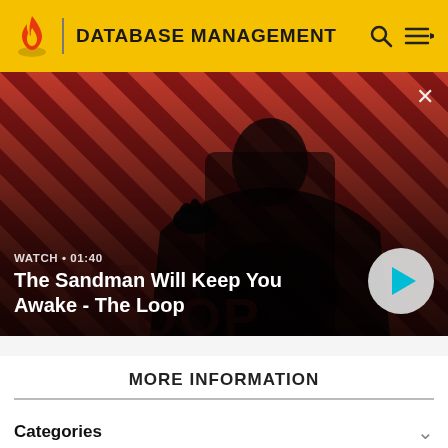DATABASE MANAGEMENT
[Figure (screenshot): Video thumbnail showing a dark-cloaked figure with a crow on their shoulder against a red and black diagonal striped background. Text overlay reads: WATCH • 01:40, The Sandman Will Keep You Awake - The Loop. A play button is visible on the right.]
MORE INFORMATION
Categories
Community content is available under CC-BY-SA unless